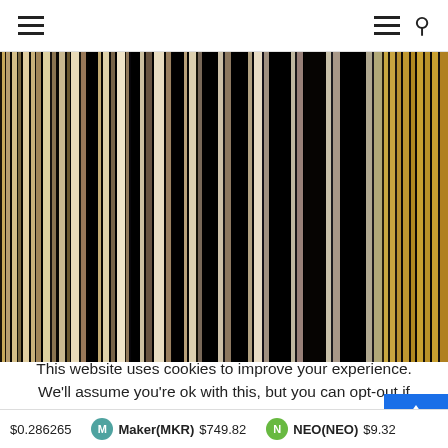Navigation header with hamburger menu and search icon
[Figure (illustration): Abstract vertical stripes barcode-style artwork in black, white, tan, gold, and brown tones]
This website uses cookies to improve your experience. We'll assume you're ok with this, but you can opt-out if you w
$0.286265  Maker(MKR) $749.82  NEO(NEO) $9.32